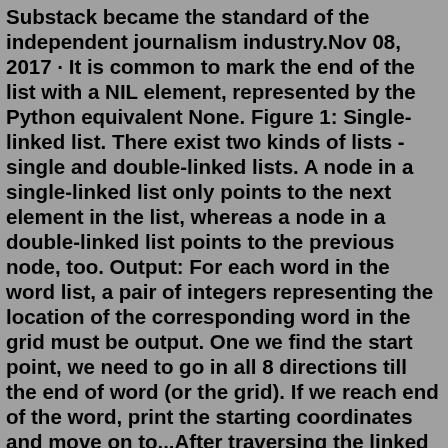Substack became the standard of the independent journalism industry.Nov 08, 2017 · It is common to mark the end of the list with a NIL element, represented by the Python equivalent None. Figure 1: Single-linked list. There exist two kinds of lists - single and double-linked lists. A node in a single-linked list only points to the next element in the list, whereas a node in a double-linked list points to the previous node, too. Output: For each word in the word list, a pair of integers representing the location of the corresponding word in the grid must be output. One we find the start point, we need to go in all 8 directions till the end of word (or the grid). If we reach end of the word, print the starting coordinates and move on to...After traversing the linked list and finding the minimum value, we delete this node, instantiate a new node with a value equal to the selection, and insert this node at the sorted_idx. Lastly, we increment the sorted_idx by 1 and repeat until this index equals the count attribute minus 1 (because there's no nodes available to traverse after